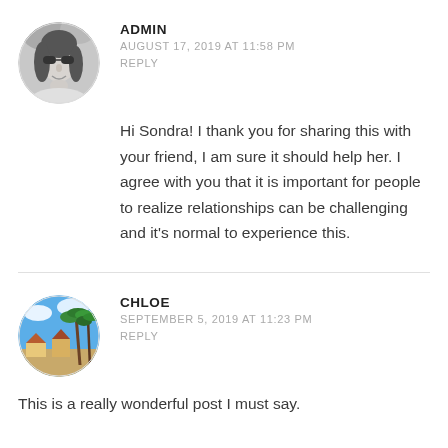[Figure (photo): Circular avatar photo of a woman with sunglasses, black and white]
ADMIN
AUGUST 17, 2019 AT 11:58 PM
REPLY
Hi Sondra! I thank you for sharing this with your friend, I am sure it should help her. I agree with you that it is important for people to realize relationships can be challenging and it's normal to experience this.
[Figure (photo): Circular avatar photo of palm trees and tropical resort, color]
CHLOE
SEPTEMBER 5, 2019 AT 11:23 PM
REPLY
This is a really wonderful post I must say.